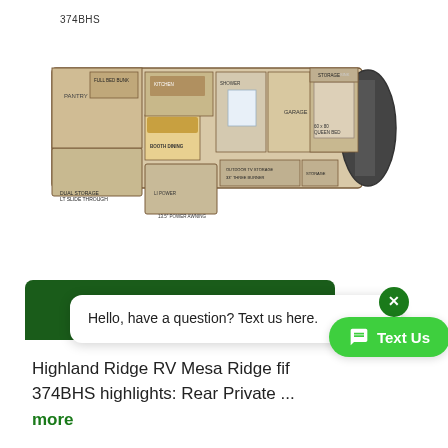374BHS
[Figure (other): RV floor plan diagram for 374BHS model showing top-down view of room layout including bedroom, bathroom, kitchen, living area, and bunk area with labeled furniture and dimensions]
[Figure (screenshot): Chat widget overlay showing dark green bar with white chat bubble containing 'Hello, have a question? Text us here.' message, a close X button, and a green 'Text Us' pill button]
Highland Ridge RV Mesa Ridge fif